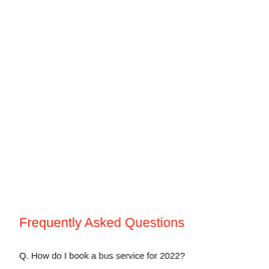Frequently Asked Questions
Q. How do I book a bus service for 2022?